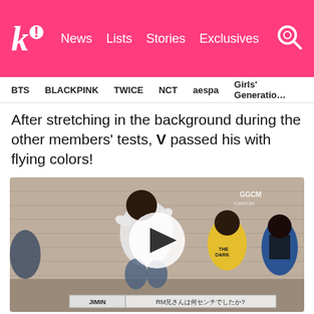Koreaboo! | News | Lists | Stories | Exclusives
BTS   BLACKPINK   TWICE   NCT   aespa   Girls' Generation
After stretching in the background during the other members' tests, V passed his with flying colors!
[Figure (screenshot): Video still showing BTS members sitting in a room with brick walls. One member in a white t-shirt is stretching/moving. Others in yellow and blue jackets are visible. Subtitle bar at bottom reads: JIMIN | RM兄さんは何センチでしたか?]
It was V's turn to take the test, and he...